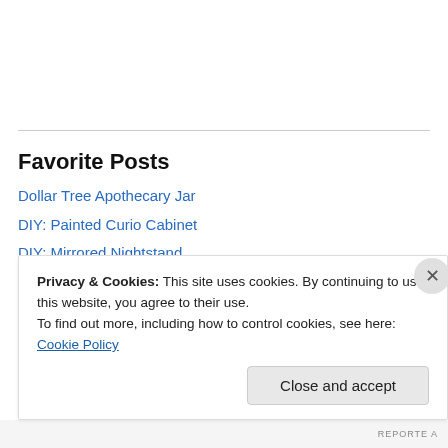Favorite Posts
Dollar Tree Apothecary Jar
DIY: Painted Curio Cabinet
DIY: Mirrored Nightstand
DIY Tall Tufted Headboard
My McDonald's Tile
Privacy & Cookies: This site uses cookies. By continuing to use this website, you agree to their use.
To find out more, including how to control cookies, see here: Cookie Policy
Close and accept